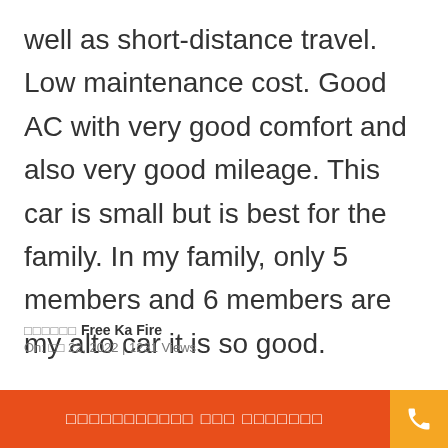well as short-distance travel. Low maintenance cost. Good AC with very good comfort and also very good mileage. This car is small but is best for the family. In my family, only 5 members and 6 members are my alto car it is so good.
?????? Free Ka Fire
On: ?? 22, 2022 | 1231 Views
2 Likes   1 Dislikes
?????? ????? 800 ???????????? ???????